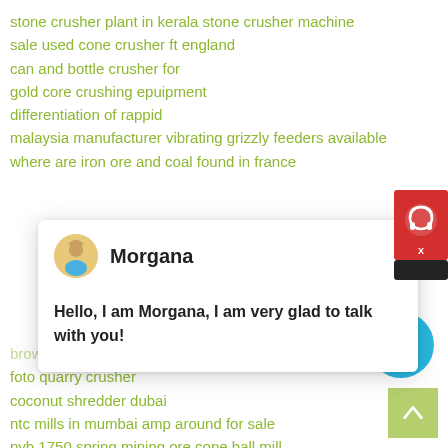stone crusher plant in kerala stone crusher machine
sale used cone crusher ft england
can and bottle crusher for
gold core crushing epuipment
differentiation of rappid
malaysia manufacturer vibrating grizzly feeders available
where are iron ore and coal found in france
[Figure (screenshot): Chat widget popup with avatar of Morgana, showing message: Hello, I am Morgana, I am very glad to talk with you!]
brown lenox crushers in liberia
foto quarry crusher
coconut shredder dubai
ntc mills in mumbai amp around for sale
pyb 1750 spring mining ore cone ball mill
limestone mobile crusher provider in india
barite flotation line ball mill
hematite iron ore processing plant
latest methods for screening of iron ore